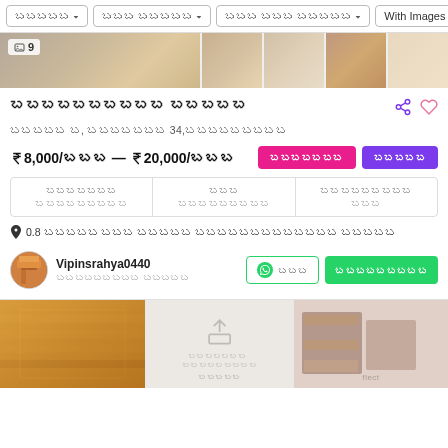Filter bar with dropdown options and With Images button
[Figure (photo): Horizontal strip of property interior photos with image count badge showing 9]
బబబబబబబబబబ బబబబబ
బబబబబ బ, బబబబబబబ 34,బబబబబబబబబ
₹8,000/బబబ — ₹20,000/బబబ
| బబబబబబబ | బబబ | బబబబబబబబబ |
| --- | --- | --- |
| బబబబబబబబబ | బబబబబబబబబ | బబబ |
0.8 బబబబబ బబబ బబబబబ బబబబబబబబబబబబబ బబబబబ
Vipinsrahya0440 — బబబబబబబబబ బబబబబ
[Figure (photo): Three property photos at bottom of listing card]